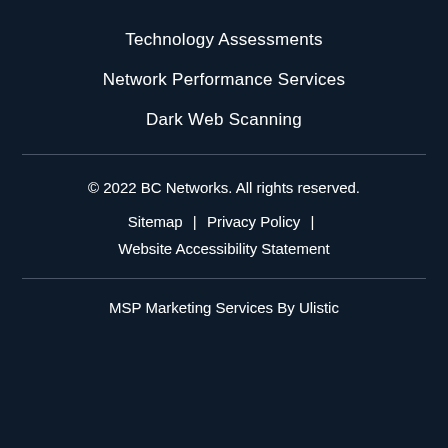Technology Assessments
Network Performance Services
Dark Web Scanning
© 2022 BC Networks. All rights reserved.
Sitemap  |  Privacy Policy  |  Website Accessibility Statement
MSP Marketing Services By Ulistic